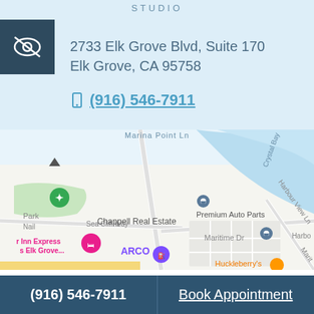STUDIO
2733 Elk Grove Blvd, Suite 170
Elk Grove, CA 95758
(916) 546-7911
[Figure (map): Google Maps screenshot showing area near 2733 Elk Grove Blvd, Suite 170, Elk Grove CA 95758. Shows landmarks including Chappell Real Estate, Marina Point Ln, Maritime Dr, Harbour View Ln, Crystal Bay, ARCO, Premium Auto Parts, Inn Express, and Huckleberry's.]
(916) 546-7911    Book Appointment